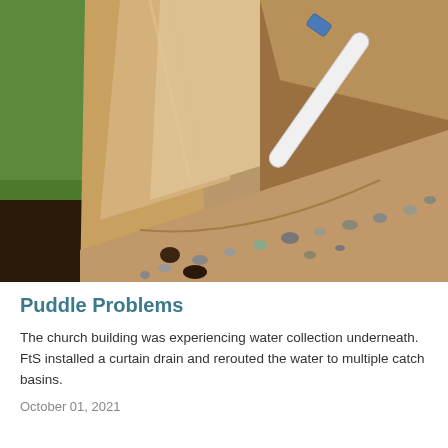[Figure (photo): Excavated trench showing a curtain drain installation. A white PVC pipe with a blue coupling is visible entering the ground at the upper right. The trench exposes layered soil and clay, with green grass visible on the left side. Gravel and rocks are scattered in the sandy/clay soil at the bottom of the trench.]
Puddle Problems
The church building was experiencing water collection underneath. FtS installed a curtain drain and rerouted the water to multiple catch basins.
October 01, 2021